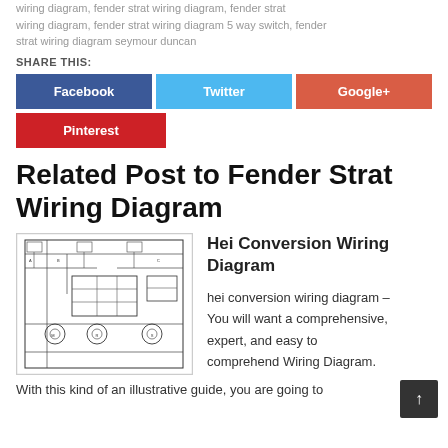wiring diagram, fender strat wiring diagram, fender strat wiring diagram 5 way switch, fender strat wiring diagram seymour duncan
SHARE THIS:
[Figure (other): Social share buttons: Facebook (blue), Twitter (light blue), Google+ (red-orange), Pinterest (red)]
Related Post to Fender Strat Wiring Diagram
[Figure (schematic): Hei Conversion Wiring Diagram schematic showing electrical/wiring diagram with lines, boxes, and circuit components]
Hei Conversion Wiring Diagram
hei conversion wiring diagram – You will want a comprehensive, expert, and easy to comprehend Wiring Diagram.
With this kind of an illustrative guide, you are going to